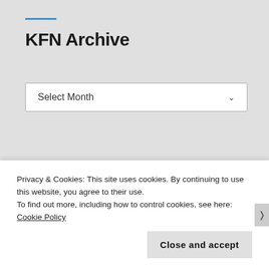KFN Archive
Select Month
[Figure (logo): KFN logo with blue background and circular arrow graphic]
Privacy & Cookies: This site uses cookies. By continuing to use this website, you agree to their use.
To find out more, including how to control cookies, see here: Cookie Policy
Close and accept